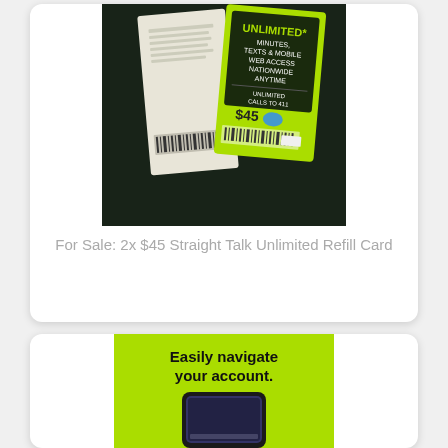[Figure (photo): Photo of two Straight Talk $45 Unlimited refill cards on a dark background. The green card shows 'UNLIMITED* MINUTES, TEXTS & MOBILE WEB ACCESS NATIONWIDE ANYTIME' and 'UNLIMITED CALLS TO 411' and '$45'. Both cards have barcodes visible.]
For Sale: 2x $45 Straight Talk Unlimited Refill Card
[Figure (photo): Lime green card showing 'Easily navigate your account.' text with a smartphone image below it.]